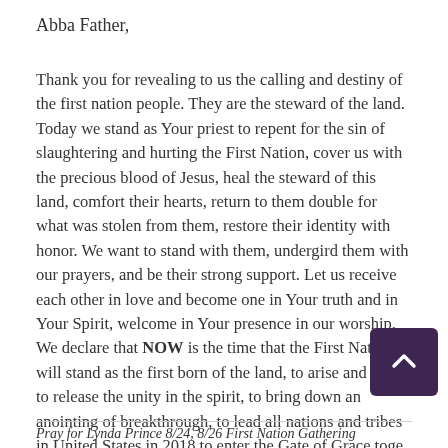Abba Father,
Thank you for revealing to us the calling and destiny of the first nation people.  They are the steward of the land.  Today we stand as Your priest to repent for the sin of slaughtering and hurting the First Nation, cover us with the precious blood of Jesus, heal the steward of this land, comfort their hearts, return to them double for what was stolen from them, restore their identity with honor.  We want to stand with them, undergird them with our prayers, and be their strong support.   Let us receive each other in love and become one in Your truth and in Your Spirit, welcome in Your presence in our worship.  We declare that NOW is the time that the First Nations will stand as the first born of the land, to arise and shine, to release the unity in the spirit, to bring down an anointing of breakthrough, to lead all nations and tribes in United States in 2018 to enter the Gate of Grace toge
Pray for Lynda Prince 8/24, 8/26 First Nation Gathering